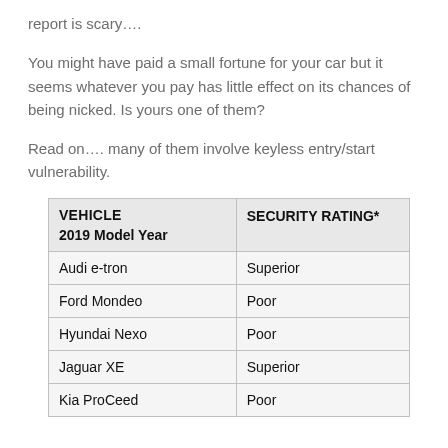report is scary….
You might have paid a small fortune for your car but it seems whatever you pay has little effect on its chances of being nicked. Is yours one of them?
Read on…. many of them involve keyless entry/start vulnerability.
| VEHICLE
2019 Model Year | SECURITY RATING* |
| --- | --- |
| Audi e-tron | Superior |
| Ford Mondeo | Poor |
| Hyundai Nexo | Poor |
| Jaguar XE | Superior |
| Kia ProCeed | Poor |